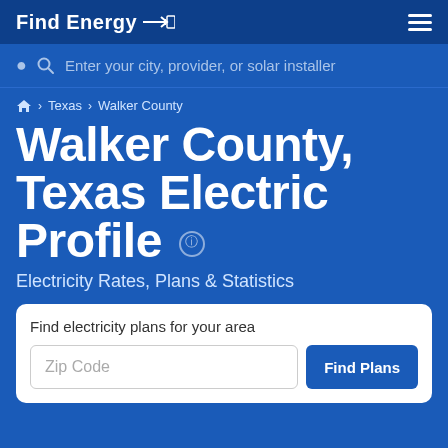Find Energy
Enter your city, provider, or solar installer
Home › Texas › Walker County
Walker County, Texas Electric Profile
Electricity Rates, Plans & Statistics
Find electricity plans for your area
Zip Code  Find Plans